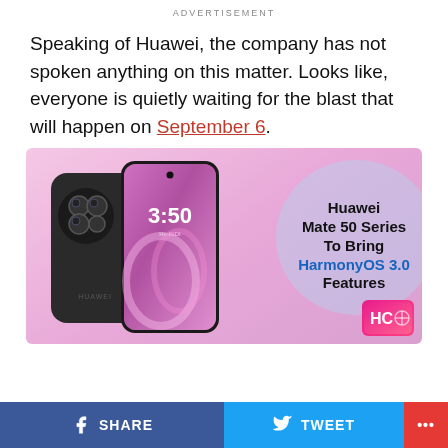ADVERTISEMENT
Speaking of Huawei, the company has not spoken anything on this matter. Looks like, everyone is quietly waiting for the blast that will happen on September 6.
[Figure (photo): Huawei Mate 50 Series smartphone product image on pink/purple gradient background with text overlay: 'Huawei Mate 50 Series To Bring HarmonyOS 3.0 Features' and HC logo]
f SHARE   TWEET   ...